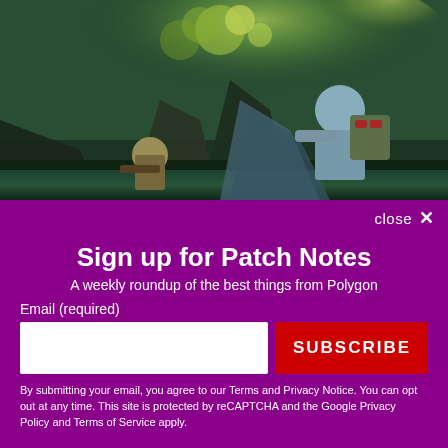[Figure (photo): Video game screenshot showing a bald muscular character with a large backpack/jetpack and red lights, alongside another character with a helmet and weapon, set in a green-tinted fantasy/sci-fi environment with explosions or magical effects in the background.]
close ✕
Sign up for Patch Notes
A weekly roundup of the best things from Polygon
Email (required)
SUBSCRIBE
By submitting your email, you agree to our Terms and Privacy Notice. You can opt out at any time. This site is protected by reCAPTCHA and the Google Privacy Policy and Terms of Service apply.